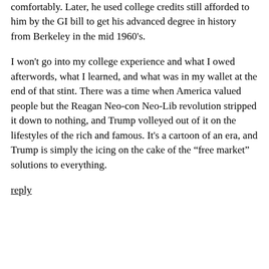comfortably. Later, he used college credits still afforded to him by the GI bill to get his advanced degree in history from Berkeley in the mid 1960's.
I won't go into my college experience and what I owed afterwords, what I learned, and what was in my wallet at the end of that stint. There was a time when America valued people but the Reagan Neo-con Neo-Lib revolution stripped it down to nothing, and Trump volleyed out of it on the lifestyles of the rich and famous. It's a cartoon of an era, and Trump is simply the icing on the cake of the “free market” solutions to everything.
reply